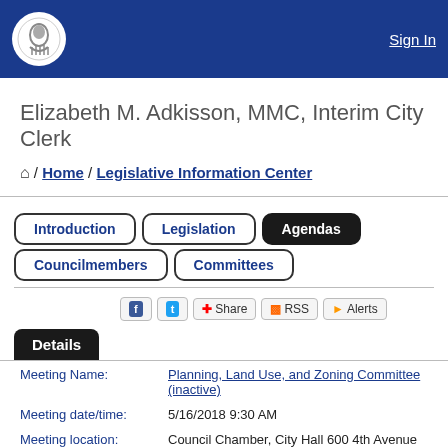Sign In
Elizabeth M. Adkisson, MMC, Interim City Clerk
Home / Legislative Information Center
Introduction | Legislation | Agendas | Councilmembers | Committees
Share | RSS | Alerts
Details
| Field | Value |
| --- | --- |
| Meeting Name: | Planning, Land Use, and Zoning Committee (inactive) |
| Meeting date/time: | 5/16/2018 9:30 AM |
| Meeting location: | Council Chamber, City Hall 600 4th Avenue Seattle, |